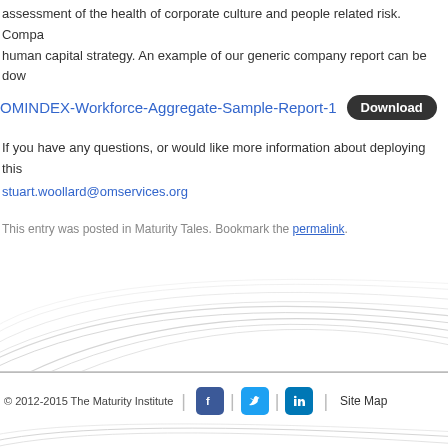assessment of the health of corporate culture and people related risk. Compa… human capital strategy. An example of our generic company report can be dow…
OMINDEX-Workforce-Aggregate-Sample-Report-1  Download
If you have any questions, or would like more information about deploying this…
stuart.woollard@omservices.org
This entry was posted in Maturity Tales. Bookmark the permalink.
© 2012-2015 The Maturity Institute  |  [Facebook] [Twitter] [LinkedIn]  Site Map